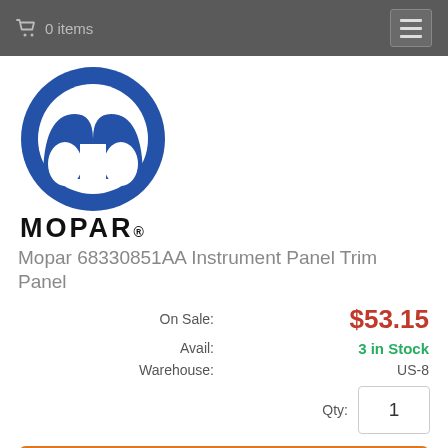0 items
[Figure (logo): Mopar logo: blue circle with white M/omega symbol and MOPAR wordmark below]
Mopar 68330851AA Instrument Panel Trim Panel
| Label | Value |
| --- | --- |
| On Sale: | $53.15 |
| Avail: | 3 in Stock |
| Warehouse: | US-8 |
Qty: 1
View Product